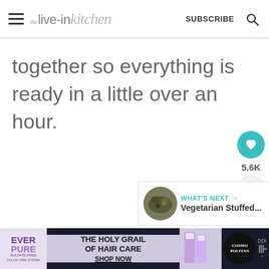the live-in kitchen | SUBSCRIBE
together so everything is ready in a little over an hour.
[Figure (other): Heart/like button with teal background showing 5.6K count and a share button below]
[Figure (other): What's Next panel showing a circular food image thumbnail with text 'WHAT'S NEXT → Vegetarian Stuffed...']
[Figure (other): Advertisement banner for EverPure Sulfate-Free hair care: 'THE HOLY GRAIL OF HAIR CARE SHOP NOW' with Cosmopolitan branding]